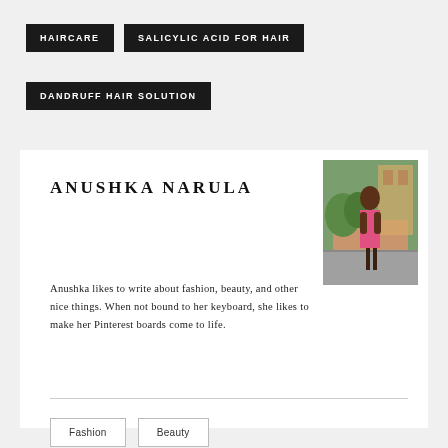HAIRCARE
SALICYLIC ACID FOR HAIR
DANDRUFF HAIR SOLUTION
ANUSHKA NARULA
[Figure (photo): Portrait photo of Anushka Narula in a pink outfit outdoors on a paved walkway with greenery in the background]
Anushka likes to write about fashion, beauty, and other nice things. When not bound to her keyboard, she likes to make her Pinterest boards come to life.
Fashion
Beauty